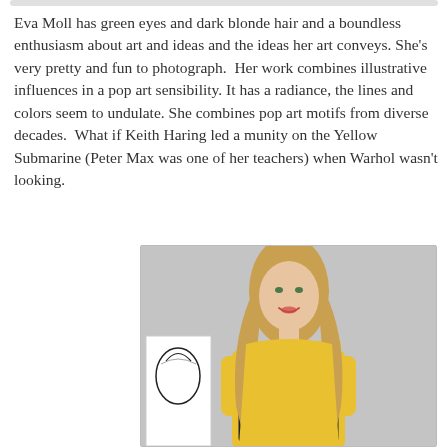Eva Moll has green eyes and dark blonde hair and a boundless enthusiasm about art and ideas and the ideas her art conveys. She's very pretty and fun to photograph.  Her work combines illustrative influences in a pop art sensibility. It has a radiance, the lines and colors seem to undulate.  She combines pop art motifs from diverse decades.  What if Keith Haring led a munity on the Yellow Submarine (Peter Max was one of her teachers) when Warhol wasn't looking.
[Figure (photo): A woman with long dark blonde wavy hair holding a yellow and black pop-art style painting/canvas with a cloud shape and cursive text reading 'Je t'aime'. She is smiling. To her left is a black and white illustration artwork. Background is a white/grey wall.]